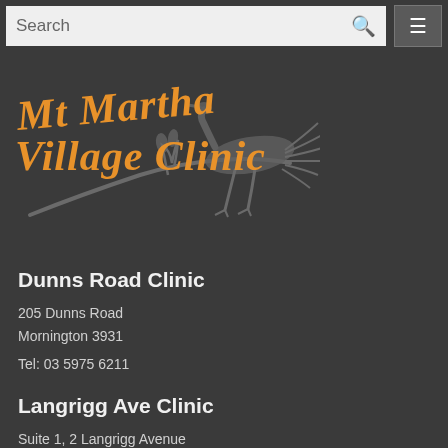Search
[Figure (logo): Mt Martha Village Clinic logo with orange handwritten text and grey botanical/bird illustration]
Dunns Road Clinic
205 Dunns Road
Mornington 3931
Tel: 03 5975 6211
Langrigg Ave Clinic
Suite 1, 2 Langrigg Avenue